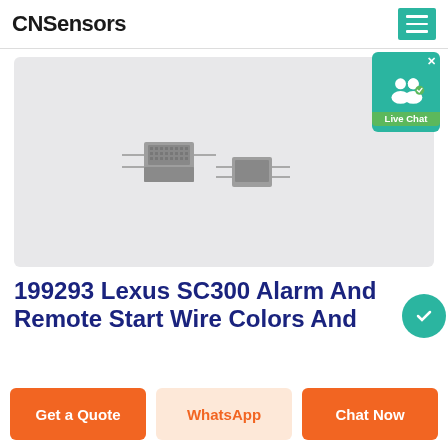CNSensors
[Figure (photo): Two small electronic sensor components (humidity/temperature sensors) on a light gray background]
199293 Lexus SC300 Alarm And Remote Start Wire Colors And
Get a Quote | WhatsApp | Chat Now